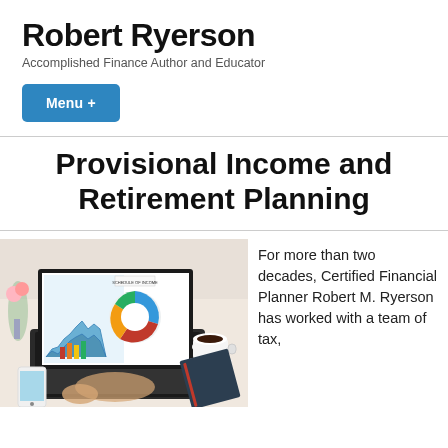Robert Ryerson
Accomplished Finance Author and Educator
Menu +
Provisional Income and Retirement Planning
[Figure (photo): Person using a laptop displaying financial charts including a pie chart, bar chart, and a donut chart labeled 'Schedule of Income', with a smartphone, coffee cup, flowers, and notebook on a desk.]
For more than two decades, Certified Financial Planner Robert M. Ryerson has worked with a team of tax,